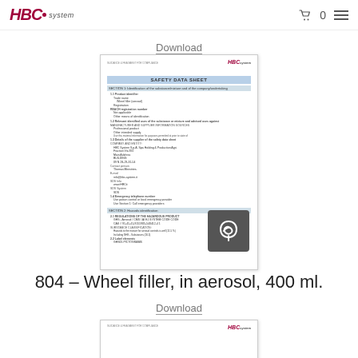HBC system — navigation header with cart icon and menu
Download
[Figure (screenshot): Safety Data Sheet document thumbnail showing HBC system logo, SAFETY DATA SHEET title with sections including product identifier, relevant uses, supplier details, emergency telephone number, and hazards identification. Adobe PDF icon overlay in bottom-right corner.]
804 – Wheel filler, in aerosol, 400 ml.
Download
[Figure (screenshot): Partially visible second Safety Data Sheet document thumbnail at the bottom of the page.]